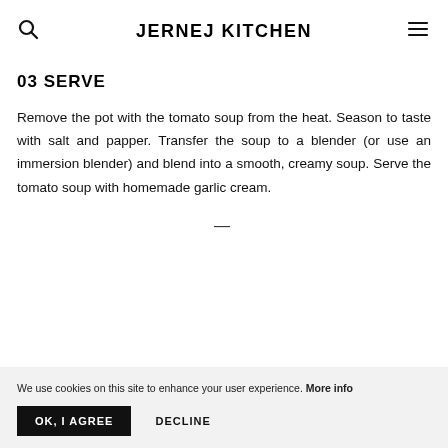JERNEJ KITCHEN
03 SERVE
Remove the pot with the tomato soup from the heat. Season to taste with salt and papper. Transfer the soup to a blender (or use an immersion blender) and blend into a smooth, creamy soup. Serve the tomato soup with homemade garlic cream.
—
We use cookies on this site to enhance your user experience. More info
OK, I AGREE   DECLINE